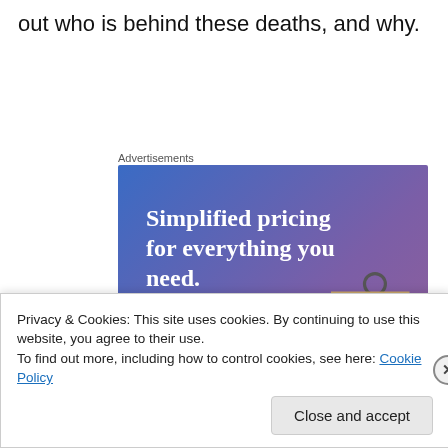out who is behind these deaths, and why.
Advertisements
[Figure (infographic): Advertisement banner with blue-to-purple gradient background. Text reads 'Simplified pricing for everything you need.' with a pink 'Build Your Website' button and a tan price tag illustration on the right.]
Privacy & Cookies: This site uses cookies. By continuing to use this website, you agree to their use.
To find out more, including how to control cookies, see here: Cookie Policy
Close and accept